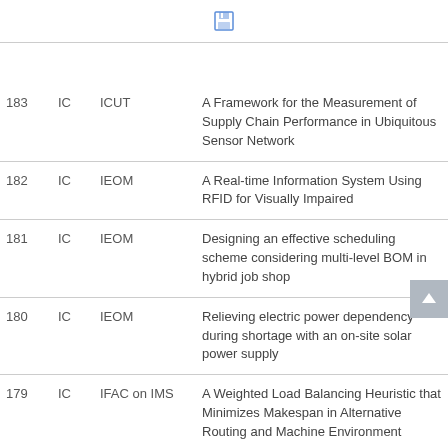| # | Type | Venue | Title |
| --- | --- | --- | --- |
| 183 | IC | ICUT | A Framework for the Measurement of Supply Chain Performance in Ubiquitous Sensor Network |
| 182 | IC | IEOM | A Real-time Information System Using RFID for Visually Impaired |
| 181 | IC | IEOM | Designing an effective scheduling scheme considering multi-level BOM in hybrid job shop |
| 180 | IC | IEOM | Relieving electric power dependency during shortage with an on-site solar power supply |
| 179 | IC | IFAC on IMS | A Weighted Load Balancing Heuristic that Minimizes Makespan in Alternative Routing and Machine Environment |